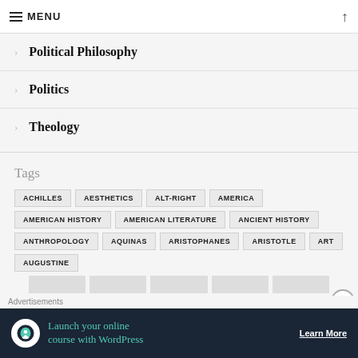≡ MENU ↑
> Political Philosophy
> Politics
> Theology
Tags
ACHILLES
AESTHETICS
ALT-RIGHT
AMERICA
AMERICAN HISTORY
AMERICAN LITERATURE
ANCIENT HISTORY
ANTHROPOLOGY
AQUINAS
ARISTOPHANES
ARISTOTLE
ART
AUGUSTINE
Advertisements
[Figure (infographic): Advertisement banner: Launch your online course with WordPress. Learn More.]